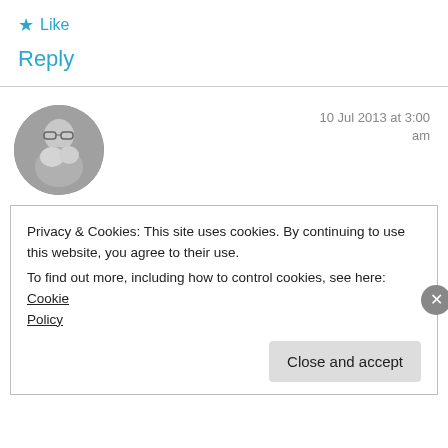★ Like
Reply
[Figure (photo): Circular avatar photo of a person holding a small dog or cat, gray-toned image]
10 Jul 2013 at 3:00 am
sheridegrom - From the literary and legislative trenches.
Privacy & Cookies: This site uses cookies. By continuing to use this website, you agree to their use.
To find out more, including how to control cookies, see here: Cookie Policy
Close and accept